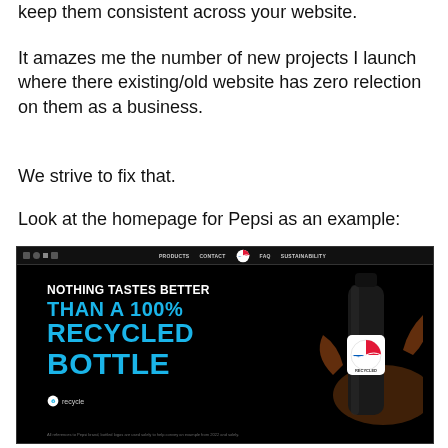keep them consistent across your website.
It amazes me the number of new projects I launch where there existing/old website has zero relection on them as a business.
We strive to fix that.
Look at the homepage for Pepsi as an example:
[Figure (screenshot): Screenshot of the Pepsi website homepage showing a dark/black background with navigation bar at top including PRODUCTS, CONTACT, Pepsi logo, FAQ, SUSTAINABILITY links. Hero section shows bold text 'NOTHING TASTES BETTER THAN A 100% RECYCLED BOTTLE' in white and blue, with a Pepsi bottle surrounded by liquid splash on the right. Recycle badge and small disclaimer text at bottom.]